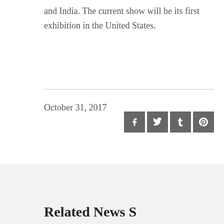and India. The current show will be its first exhibition in the United States.
October 31, 2017
[Figure (other): Social media sharing icons: Facebook, Twitter, Tumblr, Pinterest]
Related News S